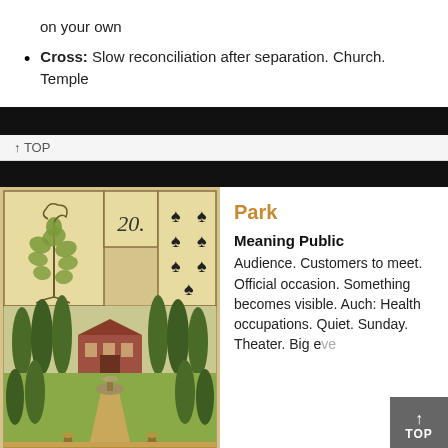on your own
Cross: Slow reconciliation after separation. Church. Temple
↑ TOP
[Figure (illustration): Antique Lenormand tarot card number 20 - Park. Shows an ornate garden scene with tall cypress trees, a pavilion/house in the background, a fountain, decorative planters, and a pathway. Upper portion shows a plant illustration on the left, the number 20 in the center, and seven spades playing card symbols on the right.]
Park
Meaning Public
Audience. Customers to meet. Official occasion. Something becomes visible. Auch: Health occupations. Quiet. Sunday. Theater. Big e...